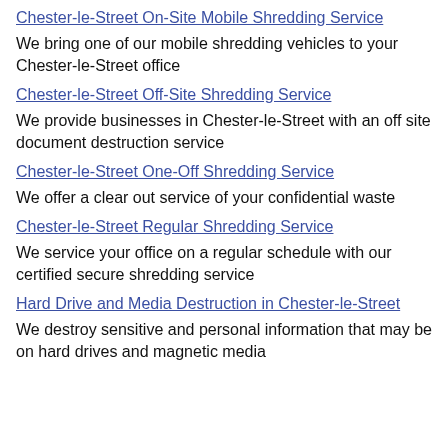Chester-le-Street On-Site Mobile Shredding Service
We bring one of our mobile shredding vehicles to your Chester-le-Street office
Chester-le-Street Off-Site Shredding Service
We provide businesses in Chester-le-Street with an off site document destruction service
Chester-le-Street One-Off Shredding Service
We offer a clear out service of your confidential waste
Chester-le-Street Regular Shredding Service
We service your office on a regular schedule with our certified secure shredding service
Hard Drive and Media Destruction in Chester-le-Street
We destroy sensitive and personal information that may be on hard drives and magnetic media